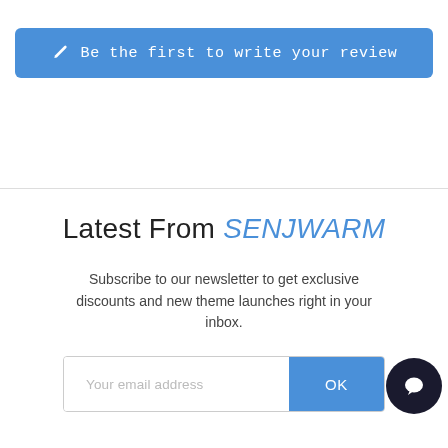[Figure (other): Blue rounded button with pencil icon and text 'Be the first to write your review']
Latest From SENJWARM
Subscribe to our newsletter to get exclusive discounts and new theme launches right in your inbox.
[Figure (other): Email subscription input field with placeholder 'Your email address' and blue OK button, plus scroll-to-top button and chat button]